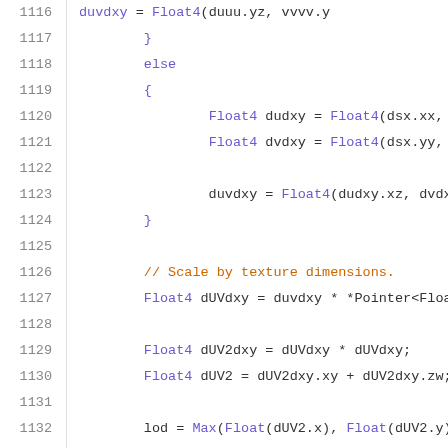[Figure (screenshot): Source code listing showing lines 1116-1137 of a shader/graphics program. Code includes Float4 type declarations, duvdxy computations, UV scaling by texture dimensions, LOD calculation using Max function, and anisotropic texture filter conditional.]